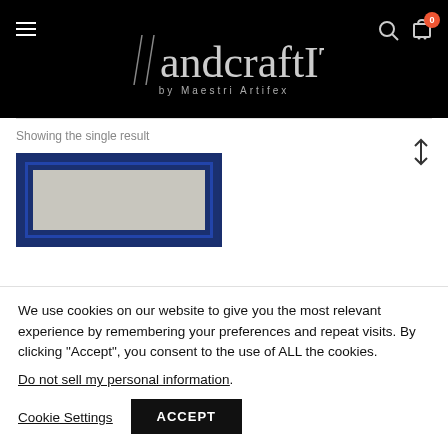[Figure (logo): HandcraftIT by Maestri Artifex logo on black background with hamburger menu, search icon, and cart icon with badge showing 0]
Showing the single result
[Figure (photo): Partial product thumbnail showing a blue ornate picture frame with a light grey center]
We use cookies on our website to give you the most relevant experience by remembering your preferences and repeat visits. By clicking “Accept”, you consent to the use of ALL the cookies.
Do not sell my personal information.
Cookie Settings
ACCEPT